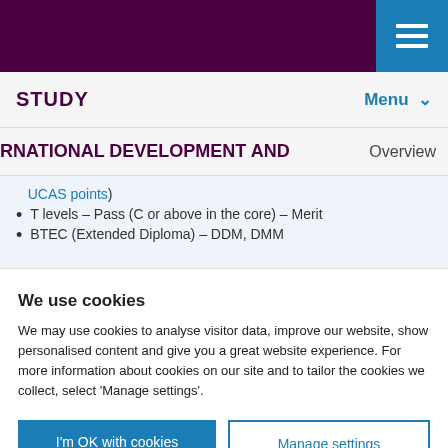STUDY | Menu
RNATIONAL DEVELOPMENT AND
Overview
UCAS points)
T levels – Pass (C or above in the core) – Merit
BTEC (Extended Diploma) – DDM, DMM
We use cookies
We may use cookies to analyse visitor data, improve our website, show personalised content and give you a great website experience. For more information about cookies on our site and to tailor the cookies we collect, select 'Manage settings'.
I'm OK with cookies
Manage settings